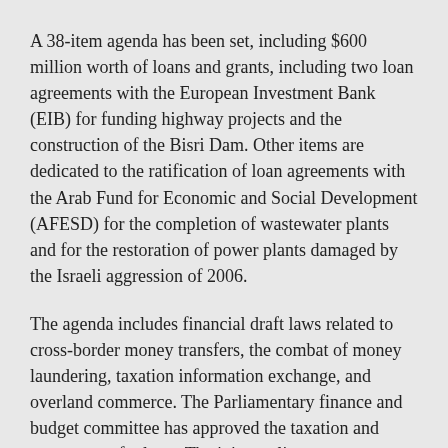A 38-item agenda has been set, including $600 million worth of loans and grants, including two loan agreements with the European Investment Bank (EIB) for funding highway projects and the construction of the Bisri Dam. Other items are dedicated to the ratification of loan agreements with the Arab Fund for Economic and Social Development (AFESD) for the completion of wastewater plants and for the restoration of power plants damaged by the Israeli aggression of 2006.
The agenda includes financial draft laws related to cross-border money transfers, the combat of money laundering, taxation information exchange, and overland commerce. The Parliamentary finance and budget committee has approved the taxation and money transfer laws. The joint parliamentary subcommittee had also completed the discussion and approved the anti-money laundering law.
The agenda also includes expenditure for infrastructure and